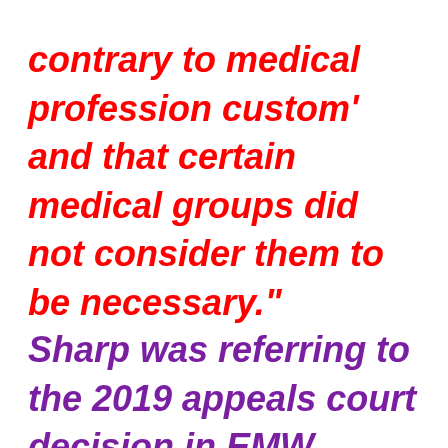contrary to medical profession custom' and that certain medical groups did not consider them to be necessary."
Sharp was referring to the 2019 appeals court decision in EMW Women's Surgical Center v. Beshear, where a